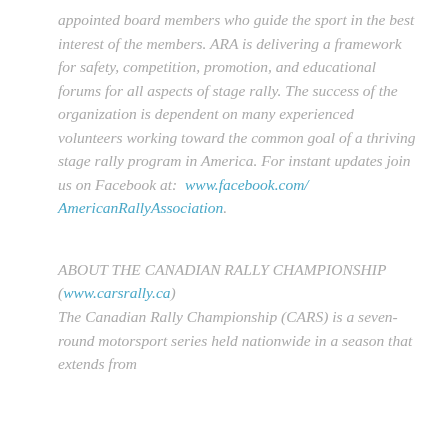appointed board members who guide the sport in the best interest of the members. ARA is delivering a framework for safety, competition, promotion, and educational forums for all aspects of stage rally. The success of the organization is dependent on many experienced volunteers working toward the common goal of a thriving stage rally program in America. For instant updates join us on Facebook at:  www.facebook.com/AmericanRallyAssociation.
ABOUT THE CANADIAN RALLY CHAMPIONSHIP (www.carsrally.ca)
The Canadian Rally Championship (CARS) is a seven-round motorsport series held nationwide in a season that extends from